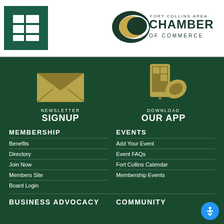[Figure (logo): Menu icon grid on green background and Fort Collins Area Chamber of Commerce logo]
[Figure (illustration): Envelope icon for Newsletter Signup and smartphone/hand icon for Download Our App]
NEWSLETTER
SIGNUP
DOWNLOAD
OUR APP
MEMBERSHIP
Benefits
Directory
Join Now
Members Site
Board Login
EVENTS
Add Your Event
Event FAQs
Fort Collins Calendar
Membership Events
BUSINESS ADVOCACY
COMMUNITY